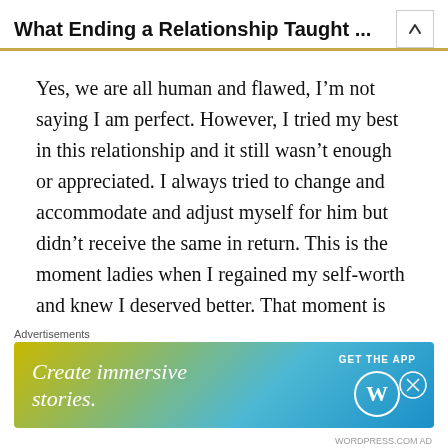What Ending a Relationship Taught ...
Yes, we are all human and flawed, I'm not saying I am perfect. However, I tried my best in this relationship and it still wasn't enough or appreciated. I always tried to change and accommodate and adjust myself for him but didn't receive the same in return. This is the moment ladies when I regained my self-worth and knew I deserved better. That moment is when I started to blossom.
2017 was my “step out of my comfort zone” year. I
[Figure (screenshot): Advertisement banner for WordPress app: 'Create immersive stories.' with GET THE APP button and WordPress logo]